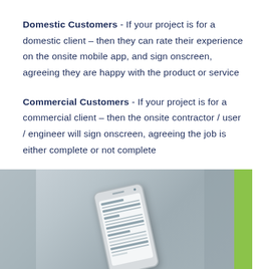Domestic Customers - If your project is for a domestic client – then they can rate their experience on the onsite mobile app, and sign onscreen, agreeing they are happy with the product or service
Commercial Customers - If your project is for a commercial client – then the onsite contractor / user / engineer will sign onscreen, agreeing the job is either complete or not complete
[Figure (photo): A smartphone displaying an onsite completion/signature form screen, shown at an angle on a blurred background, with a green accent bar on the right edge]